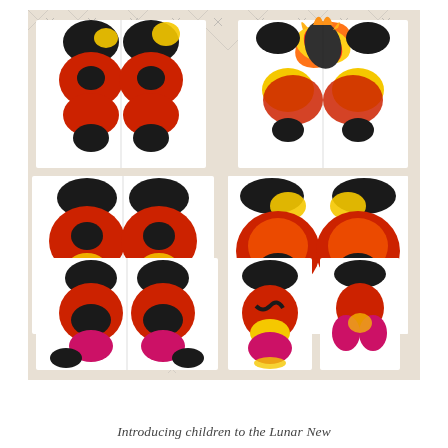[Figure (photo): A photograph of six children's artworks laid out on a white patterned fabric/rug with a cross-hatch mudcloth-style pattern. The artworks are symmetrical ink blot / folded paper paintings in red, black, yellow, and orange colors — resembling butterfly or face shapes. The paintings are arranged in a 2-column, 3-row grid. They appear to be Lunar New Year themed art projects made by children using paint folding techniques.]
Introducing children to the Lunar New